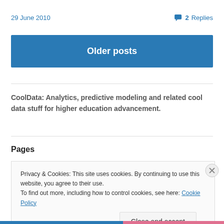29 June 2010
💬 2 Replies
Older posts
CoolData: Analytics, predictive modeling and related cool data stuff for higher education advancement.
Pages
Privacy & Cookies: This site uses cookies. By continuing to use this website, you agree to their use.
To find out more, including how to control cookies, see here: Cookie Policy
Close and accept